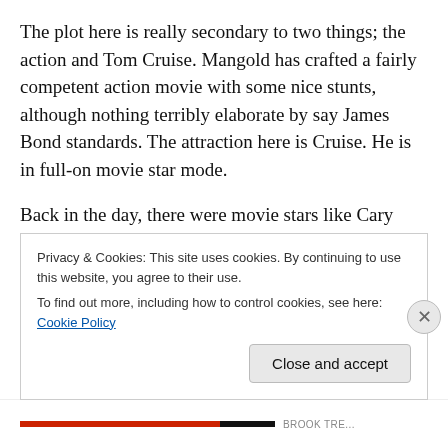The plot here is really secondary to two things; the action and Tom Cruise. Mangold has crafted a fairly competent action movie with some nice stunts, although nothing terribly elaborate by say James Bond standards. The attraction here is Cruise. He is in full-on movie star mode.
Back in the day, there were movie stars like Cary Grant, Clark Gable, Gary Cooper, Paul Newman and Steve McQueen who mesmerized you just by being onscreen. They had an indefinable charisma, something you can't really explain but certainly can feel. You're drawn in. There
Privacy & Cookies: This site uses cookies. By continuing to use this website, you agree to their use.
To find out more, including how to control cookies, see here: Cookie Policy